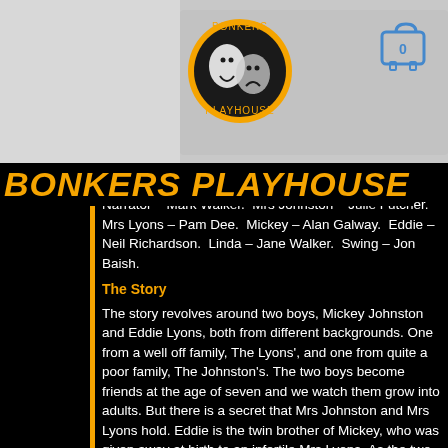BONKERS PLAYHOUSE - website header with logo and shopping cart
BONKERS PLAYHOUSE
Narrator – Mark Walker.  Mrs Johnston – Julie Futcher.  Mrs Lyons – Pam Dee.  Mickey – Alan Galway.  Eddie – Neil Richardson.  Linda – Jane Walker.  Swing – Jon Baish.
The Story
The story revolves around two boys, Mickey Johnston and Eddie Lyons, both from different backgrounds. One from a well off family, The Lyons', and one from quite a poor family, The Johnston's. The two boys become friends at the age of seven and we watch them grow into adults. But there is a secret that Mrs Johnston and Mrs Lyons hold. Eddie is the twin brother of Mickey, who was given away at birth to an infertile Mrs Lyons. As the two grow up they become very close and are even in love with the same girl, Linda. As they all grow older Mickey and Linda are married but, due to recession, Mickey becomes chronically depressed. He also